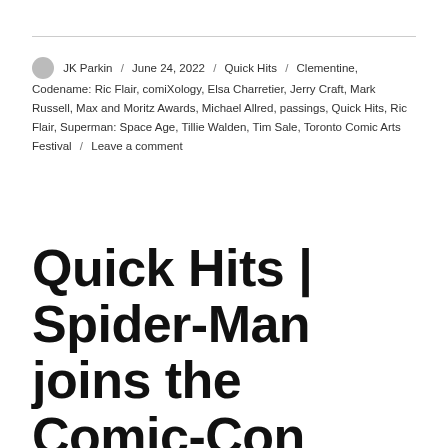JK Parkin / June 24, 2022 / Quick Hits / Clementine, Codename: Ric Flair, comiXology, Elsa Charretier, Jerry Craft, Mark Russell, Max and Moritz Awards, Michael Allred, passings, Quick Hits, Ric Flair, Superman: Space Age, Tillie Walden, Tim Sale, Toronto Comic Arts Festival / Leave a comment
Quick Hits | Spider-Man joins the Comic-Con Museum Character Hall of Fame